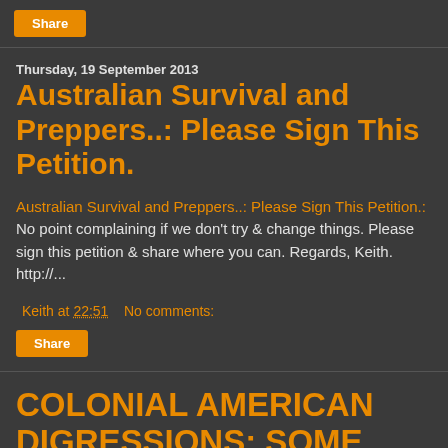Share
Thursday, 19 September 2013
Australian Survival and Preppers..: Please Sign This Petition.
Australian Survival and Preppers..: Please Sign This Petition.: No point complaining if we don't try & change things. Please sign this petition & share where you can. Regards, Keith. http://...
Keith at 22:51    No comments:
Share
COLONIAL AMERICAN DIGRESSIONS: SOME EARLY COLONIAL FENCES